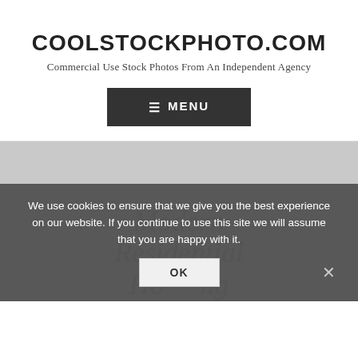COOLSTOCKPHOTO.COM
Commercial Use Stock Photos From An Independent Agency
[Figure (screenshot): Dark gray menu button with hamburger icon and text MENU]
[Figure (photo): Gray placeholder area showing partial text: Modern Residential Housing in italic gray serif font]
We use cookies to ensure that we give you the best experience on our website. If you continue to use this site we will assume that you are happy with it.
[Figure (screenshot): OK button in cookie consent overlay]